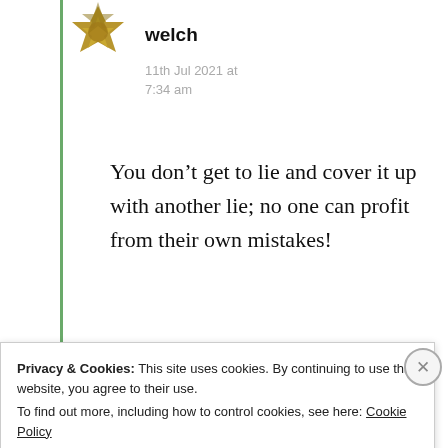[Figure (illustration): Gold/olive colored avatar icon with compass-rose or star shape, representing user 'marcuprinee welch']
marcuprinee welch
11th Jul 2021 at 7:34 am
You don’t get to lie and cover it up with another lie; no one can profit from their own mistakes!
★ Like
Privacy & Cookies: This site uses cookies. By continuing to use this website, you agree to their use.
To find out more, including how to control cookies, see here: Cookie Policy
Close and accept